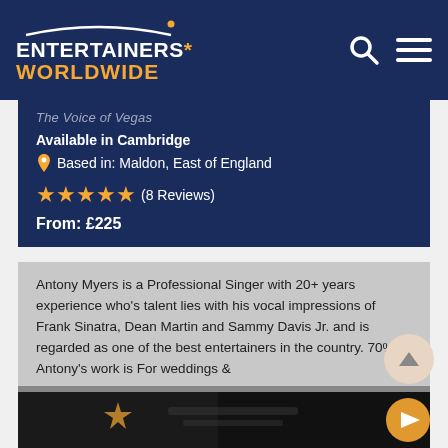Entertainers Worldwide
The Voice of Vegas
Available in Cambridge
Based in: Maldon, East of England
★★★★★ (8 Reviews)
From: £225
Antony Myers is a Professional Singer with 20+ years experience who's talent lies with his vocal impressions of Frank Sinatra, Dean Martin and Sammy Davis Jr. and is regarded as one of the best entertainers in the country. 70% of Antony's work is For weddings &
View Full Profile
Request a Quote
[Figure (screenshot): Bottom strip showing a video thumbnail with play button]